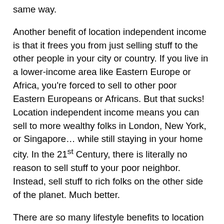same way.
Another benefit of location independent income is that it frees you from just selling stuff to the other people in your city or country. If you live in a lower-income area like Eastern Europe or Africa, you're forced to sell to other poor Eastern Europeans or Africans. But that sucks! Location independent income means you can sell to more wealthy folks in London, New York, or Singapore… while still staying in your home city. In the 21st Century, there is literally no reason to sell stuff to your poor neighbor. Instead, sell stuff to rich folks on the other side of the planet. Much better.
There are so many lifestyle benefits to location independent income that I honestly don't understand why everyone doesn't have it, or at least doesn't try to have it. Even when I was a beta male years ago, I still had location independent income as a strong goal. As I mentioned in the Alpha 2.0 Business Course, my goal back then was to be able to leave